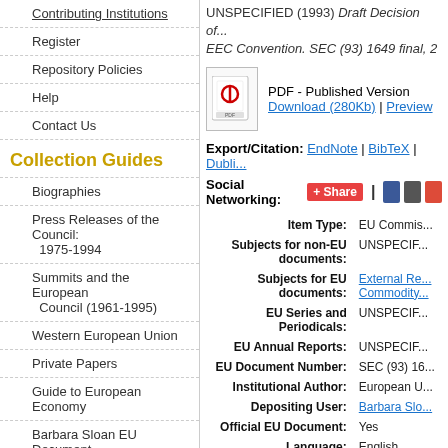Contributing Institutions
Register
Repository Policies
Help
Contact Us
Collection Guides
Biographies
Press Releases of the Council: 1975-1994
Summits and the European Council (1961-1995)
Western European Union
Private Papers
Guide to European Economy
Barbara Sloan EU Document Collection
Search and Browse
UNSPECIFIED (1993) Draft Decision of... EEC Convention. SEC (93) 1649 final, 2
[Figure (other): PDF icon]
PDF - Published Version
Download (280Kb) | Preview
Export/Citation: EndNote | BibTeX | Dubli...
Social Networking: Share | Facebook | Twitter | Google+
| Field | Value |
| --- | --- |
| Item Type: | EU Commis... |
| Subjects for non-EU documents: | UNSPECIF... |
| Subjects for EU documents: | External Re... Commodity... |
| EU Series and Periodicals: | UNSPECIF... |
| EU Annual Reports: | UNSPECIF... |
| EU Document Number: | SEC (93) 16... |
| Institutional Author: | European U... |
| Depositing User: | Barbara Slo... |
| Official EU Document: | Yes |
| Language: | English |